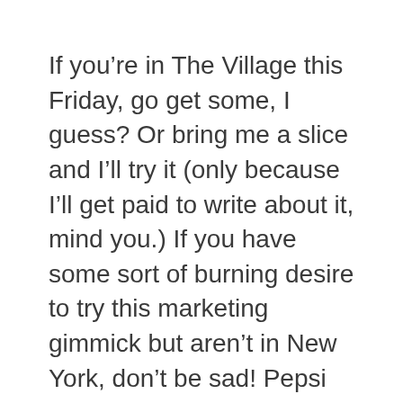If you're in The Village this Friday, go get some, I guess? Or bring me a slice and I'll try it (only because I'll get paid to write about it, mind you.) If you have some sort of burning desire to try this marketing gimmick but aren't in New York, don't be sad! Pepsi promises that it's coming soon to LA, Detroit, Miami, and Chicago.